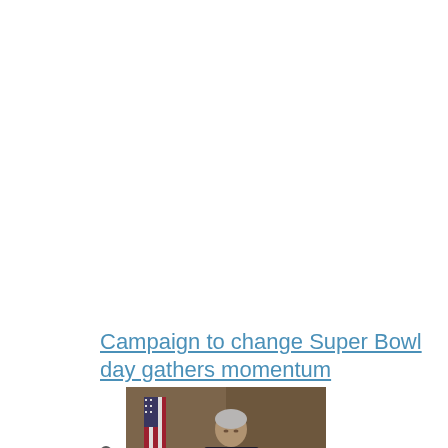Campaign to change Super Bowl day gathers momentum
[Figure (photo): Photo of a person in a dark suit seated at a table with an American flag in the background]